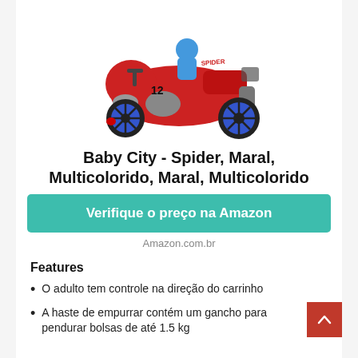[Figure (photo): Red children's ride-on toy motorcycle with blue wheels, gray fenders, number 12 on the side and a spider logo. A child figure is visible on top. The toy is photographed on a white background.]
Baby City - Spider, Maral, Multicolorido, Maral, Multicolorido
Verifique o preço na Amazon
Amazon.com.br
Features
O adulto tem controle na direção do carrinho
A haste de empurrar contém um gancho para pendurar bolsas de até 1.5 kg